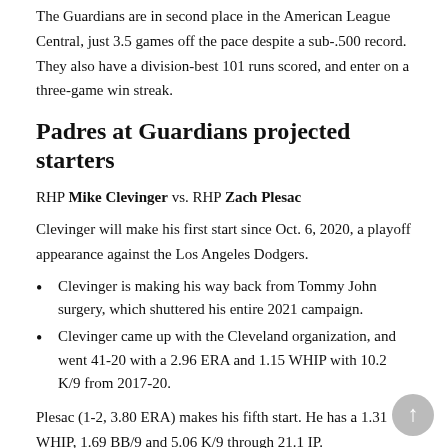The Guardians are in second place in the American League Central, just 3.5 games off the pace despite a sub-.500 record. They also have a division-best 101 runs scored, and enter on a three-game win streak.
Padres at Guardians projected starters
RHP Mike Clevinger vs. RHP Zach Plesac
Clevinger will make his first start since Oct. 6, 2020, a playoff appearance against the Los Angeles Dodgers.
Clevinger is making his way back from Tommy John surgery, which shuttered his entire 2021 campaign.
Clevinger came up with the Cleveland organization, and went 41-20 with a 2.96 ERA and 1.15 WHIP with 10.2 K/9 from 2017-20.
Plesac (1-2, 3.80 ERA) makes his fifth start. He has a 1.31 WHIP, 1.69 BB/9 and 5.06 K/9 through 21.1 IP.